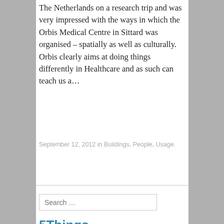The Netherlands on a research trip and was very impressed with the ways in which the Orbis Medical Centre in Sittard was organised – spatially as well as culturally. Orbis clearly aims at doing things differently in Healthcare and as such can teach us a…
September 12, 2012 in Buildings, People, Usage.
Search …
5Things activities alain de botton analysis apple architects architecture atheism Bank of England basilica BDP Bjarke Ingels building campus church coffee shop collaboration communication configuration data data sharing design distance everyday practices evidence-based design